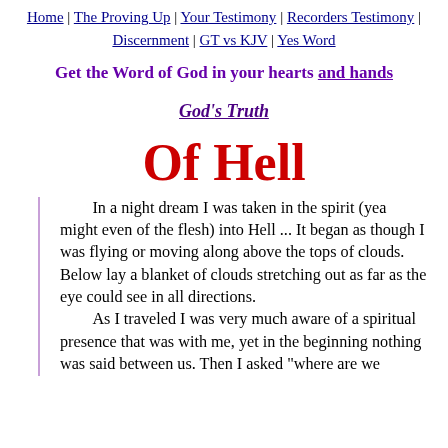Home | The Proving Up | Your Testimony | Recorders Testimony | Discernment | GT vs KJV | Yes Word
Get the Word of God in your hearts and hands
God's Truth
Of Hell
In a night dream I was taken in the spirit (yea might even of the flesh) into Hell ... It began as though I was flying or moving along above the tops of clouds. Below lay a blanket of clouds stretching out as far as the eye could see in all directions.
As I traveled I was very much aware of a spiritual presence that was with me, yet in the beginning nothing was said between us. Then I asked "where are we